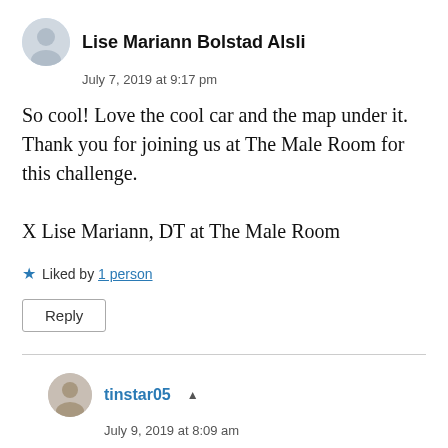Lise Mariann Bolstad Alsli
July 7, 2019 at 9:17 pm
So cool! Love the cool car and the map under it. Thank you for joining us at The Male Room for this challenge.

X Lise Mariann, DT at The Male Room
Liked by 1 person
Reply
tinstar05
July 9, 2019 at 8:09 am